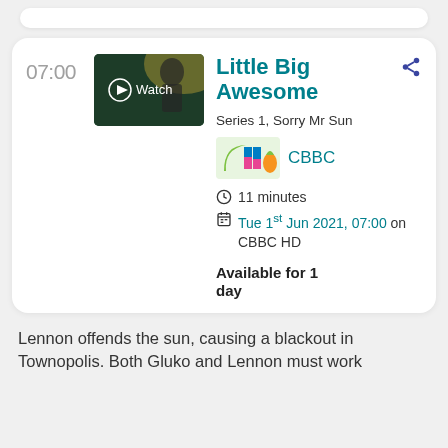07:00
[Figure (screenshot): Thumbnail image showing a BBC iPlayer 'Watch' button overlay on a TV show still]
Little Big Awesome
Series 1, Sorry Mr Sun
[Figure (logo): CBBC channel logo]
CBBC
11 minutes
Tue 1st Jun 2021, 07:00 on CBBC HD
Available for 1 day
Lennon offends the sun, causing a blackout in Townopolis. Both Gluko and Lennon must work